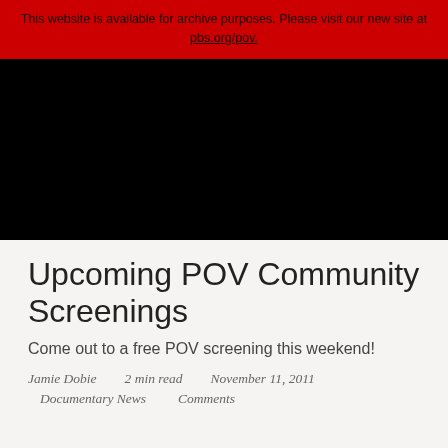This website is available for archive purposes. Please visit our new site at pbs.org/pov.
[Figure (other): Black navigation/header bar of a website]
Upcoming POV Community Screenings
Come out to a free POV screening this weekend!
Jamie Dobie    2 min read    November 11, 2011
Documentary News    Comments